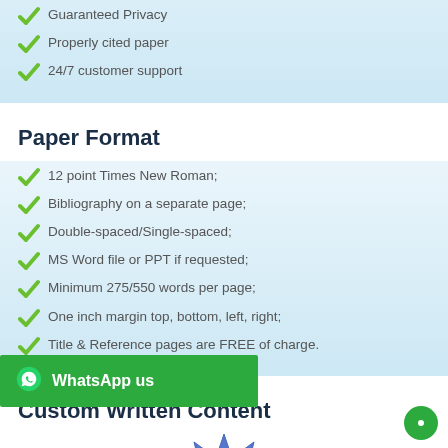Guaranteed Privacy
Properly cited paper
24/7 customer support
Paper Format
12 point Times New Roman;
Bibliography on a separate page;
Double-spaced/Single-spaced;
MS Word file or PPT if requested;
Minimum 275/550 words per page;
One inch margin top, bottom, left, right;
Title & Reference pages are FREE of charge.
Custom Written Content
[Figure (illustration): Quality badge/seal showing 100% quality mark, blue star burst shape with gold coin center]